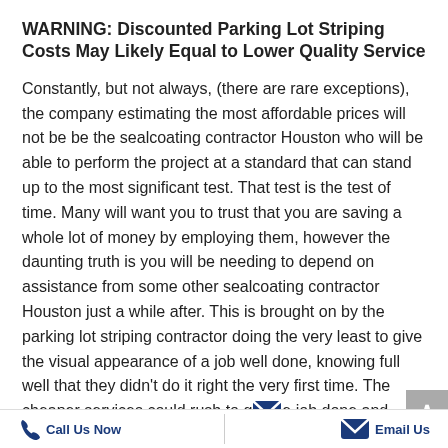WARNING: Discounted Parking Lot Striping Costs May Likely Equal to Lower Quality Service
Constantly, but not always, (there are rare exceptions), the company estimating the most affordable prices will not be be the sealcoating contractor Houston who will be able to perform the project at a standard that can stand up to the most significant test. That test is the test of time. Many will want you to trust that you are saving a whole lot of money by employing them, however the daunting truth is you will be needing to depend on assistance from some other sealcoating contractor Houston just a while after. This is brought on by the parking lot striping contractor doing the very least to give the visual appearance of a job well done, knowing full well that they didn't do it right the very first time. The cheaper services could rush to get the job done and have employed a significantly a lot less capable staff. Skepticism must be heightened in the